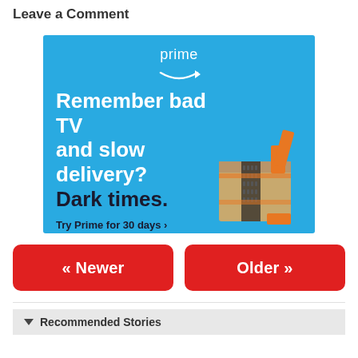Leave a Comment
[Figure (illustration): Amazon Prime advertisement with blue background. Shows 'prime' logo with arrow/smile icon at top, text 'Remember bad TV and slow delivery? Dark times.' with an Amazon delivery box and orange tape on the right side. Call-to-action: 'Try Prime for 30 days ›']
« Newer
Older »
▼ Recommended Stories